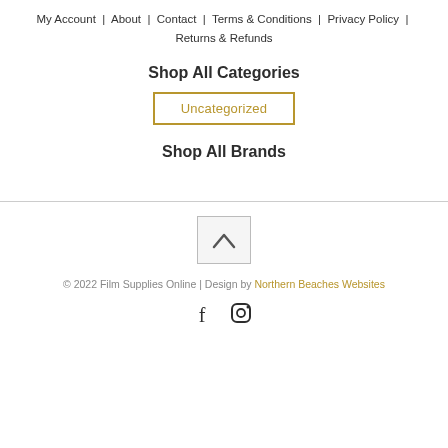My Account  |  About  |  Contact  |  Terms & Conditions  |  Privacy Policy  |  Returns & Refunds
Shop All Categories
Uncategorized
Shop All Brands
[Figure (other): Back to top button with upward chevron arrow]
© 2022 Film Supplies Online | Design by Northern Beaches Websites
[Figure (other): Social media icons: Facebook and Instagram]